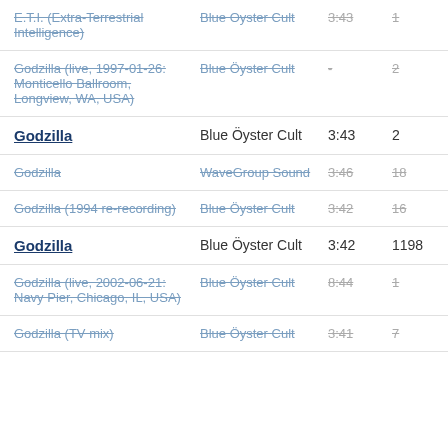| E.T.I. (Extra-Terrestrial Intelligence) | Blue Oyster Cult | 3:43 | 1 |
| Godzilla (live, 1997-01-26: Monticello Ballroom, Longview, WA, USA) | Blue Öyster Cult | - | 2 |
| Godzilla | Blue Öyster Cult | 3:43 | 2 |
| Godzilla | WaveGroup Sound | 3:46 | 18 |
| Godzilla (1994 re-recording) | Blue Öyster Cult | 3:42 | 16 |
| Godzilla | Blue Öyster Cult | 3:42 | 1198 |
| Godzilla (live, 2002-06-21: Navy Pier, Chicago, IL, USA) | Blue Öyster Cult | 8:44 | 1 |
| Godzilla (TV mix) | Blue Öyster Cult | 3:41 | 7 |